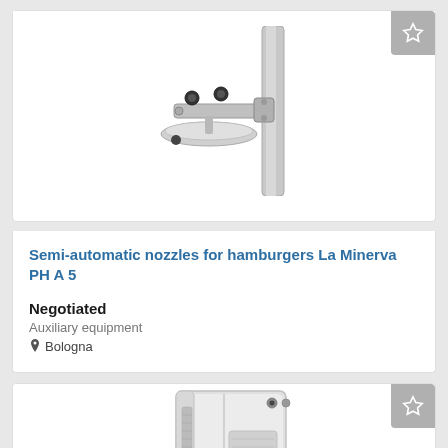[Figure (photo): Semi-automatic nozzle/clamp attachment for hamburger press machine (La Minerva PH A 5), showing metal arm with knobs and clamps against white background]
Semi-automatic nozzles for hamburgers La Minerva PH A 5
Negotiated
Auxiliary equipment
Bologna
[Figure (photo): Industrial food processing machine, silver/white metal cabinet with ventilation grille, partially visible]